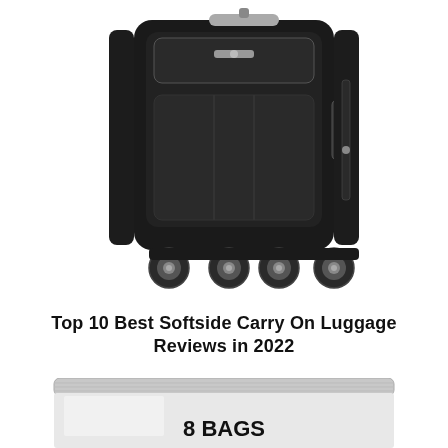[Figure (photo): Black softside carry-on luggage with spinner wheels and silver hardware, shown against white background]
Top 10 Best Softside Carry On Luggage Reviews in 2022
[Figure (photo): Silver/white zipper storage bag with text '8 BAGS' in bold black letters, partially visible at bottom of page]